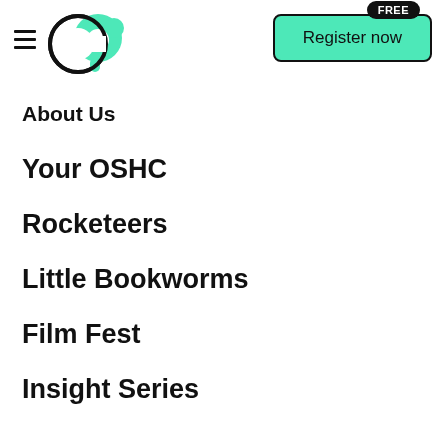[Figure (logo): Circular logo with a white 'C' overlapping a teal elephant/slug shape forming a stylized 'CA' logo]
[Figure (other): Green teal rounded rectangle button with 'Register now' text and a black pill badge reading 'FREE' at top right]
About Us
Your OSHC
Rocketeers
Little Bookworms
Film Fest
Insight Series